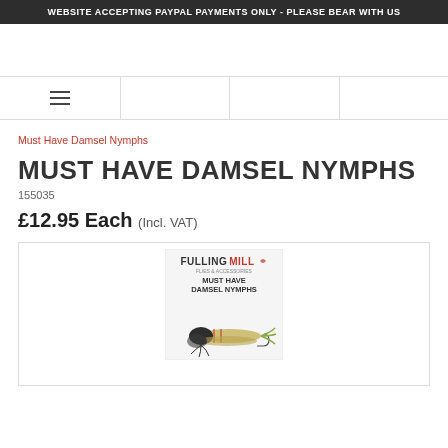WEBSITE ACCEPTING PAYPAL PAYMENTS ONLY - PLEASE BEAR WITH US
Must Have Damsel Nymphs
MUST HAVE DAMSEL NYMPHS
155035
£12.95 Each (Incl. VAT)
[Figure (photo): Product photo of Fulling Mill Must Have Damsel Nymphs fly fishing pack, showing packaging with the Fulling Mill logo and several damsel nymph flies]